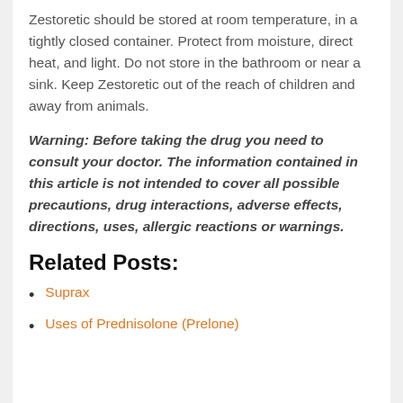Zestoretic should be stored at room temperature, in a tightly closed container. Protect from moisture, direct heat, and light. Do not store in the bathroom or near a sink. Keep Zestoretic out of the reach of children and away from animals.
Warning: Before taking the drug you need to consult your doctor. The information contained in this article is not intended to cover all possible precautions, drug interactions, adverse effects, directions, uses, allergic reactions or warnings.
Related Posts:
Suprax
Uses of Prednisolone (Prelone)